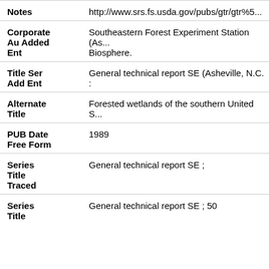Notes: http://www.srs.fs.usda.gov/pubs/gtr/gtr%5...
Corporate Au Added Ent: Southeastern Forest Experiment Station (As... Biosphere.
Title Ser Add Ent: General technical report SE (Asheville, N.C. :
Alternate Title: Forested wetlands of the southern United S...
PUB Date Free Form: 1989
Series Title Traced: General technical report SE ;
Series Title: General technical report SE ; 50